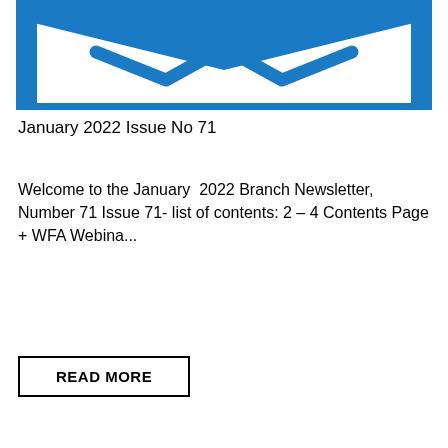[Figure (illustration): Blue envelope icon with an open flap, showing a white letter/wave symbol inside, on a white background with a blue border.]
January 2022 Issue No 71
Welcome to the January  2022 Branch Newsletter, Number 71 Issue 71- list of contents: 2 – 4 Contents Page + WFA Webina...
READ MORE